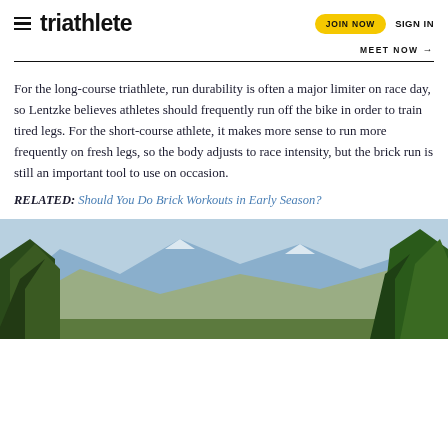triathlete  JOIN NOW  SIGN IN
MEET NOW →
For the long-course triathlete, run durability is often a major limiter on race day, so Lentzke believes athletes should frequently run off the bike in order to train tired legs. For the short-course athlete, it makes more sense to run more frequently on fresh legs, so the body adjusts to race intensity, but the brick run is still an important tool to use on occasion.
RELATED: Should You Do Brick Workouts in Early Season?
[Figure (photo): Mountain landscape with trees in foreground and rocky peaks in background]